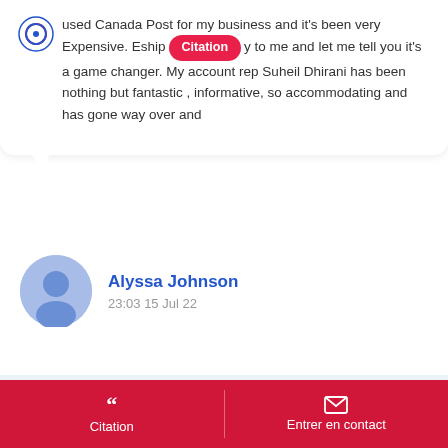used Canada Post for my business and it's been very Expensive. Eshipper came to me and let me tell you it's a game changer. My account rep Suheil Dhirani has been nothing but fantastic , informative, so accommodating and has gone way over and
Alyssa Johnson
23:03 15 Jul 22
Citation
Entrer en contact